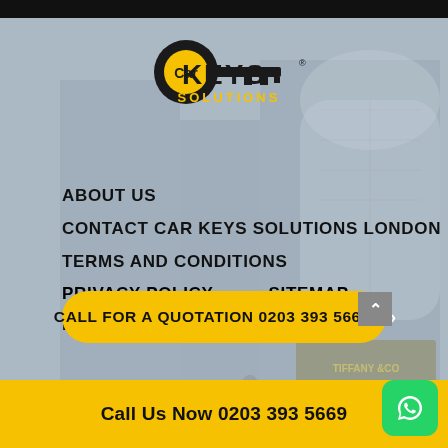[Figure (logo): Car Keys Solutions logo - black key shape with yellow circle and text KEYS SOLUTIONS]
ABOUT US
CONTACT CAR KEYS SOLUTIONS LONDON
TERMS AND CONDITIONS
PRIVACY POLICY
SITEMAP
POPULAR SEARCHES
CALL FOR A QUOTATION 0203 393 5669
Call Us Now 0203 393 5669